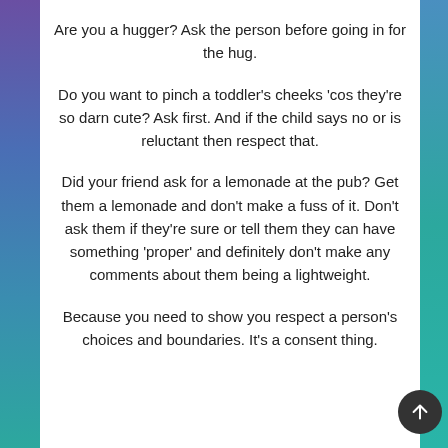Are you a hugger? Ask the person before going in for the hug.
Do you want to pinch a toddler's cheeks 'cos they're so darn cute? Ask first. And if the child says no or is reluctant then respect that.
Did your friend ask for a lemonade at the pub? Get them a lemonade and don't make a fuss of it. Don't ask them if they're sure or tell them they can have something 'proper' and definitely don't make any comments about them being a lightweight.
Because you need to show you respect a person's choices and boundaries. It's a consent thing.